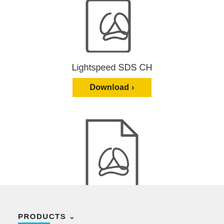[Figure (illustration): PDF file icon (Adobe Acrobat style) — partial top showing, gray outline]
Lightspeed SDS CH
Download ›
[Figure (illustration): PDF file icon (Adobe Acrobat style) — full icon, gray outline with folded corner]
Lightclean SDS CH
Download ›
PRODUCTS